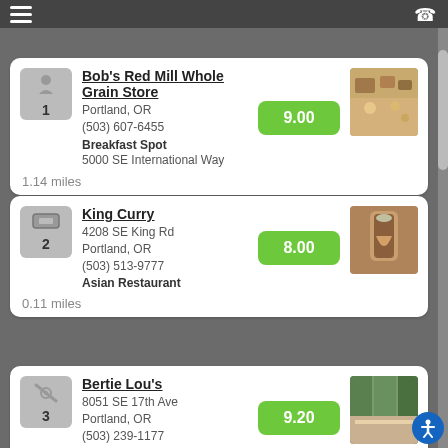Bob's Red Mill Whole Grain Store
Portland, OR
(503) 607-6455
Breakfast Spot
5000 SE International Way
Score: 9.00
1.14 miles
King Curry
4208 SE King Rd
Portland, OR
(503) 513-9777
Asian Restaurant
Score: 8.00
0.11 miles
Bertie Lou's
8051 SE 17th Ave
Portland, OR
(503) 239-1177
Breakfast Spot
Score: 9.20